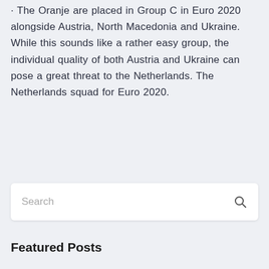· The Oranje are placed in Group C in Euro 2020 alongside Austria, North Macedonia and Ukraine. While this sounds like a rather easy group, the individual quality of both Austria and Ukraine can pose a great threat to the Netherlands. The Netherlands squad for Euro 2020.
Search
Featured Posts